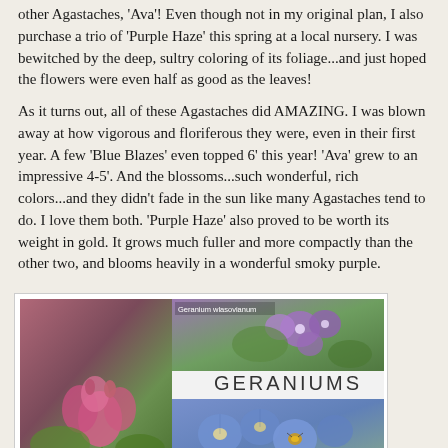other Agastaches, 'Ava'! Even though not in my original plan, I also purchase a trio of 'Purple Haze' this spring at a local nursery. I was bewitched by the deep, sultry coloring of its foliage...and just hoped the flowers were even half as good as the leaves!
As it turns out, all of these Agastaches did AMAZING. I was blown away at how vigorous and floriferous they were, even in their first year. A few 'Blue Blazes' even topped 6' this year! 'Ava' grew to an impressive 4-5'. And the blossoms...such wonderful, rich colors...and they didn't fade in the sun like many Agastaches tend to do. I love them both. 'Purple Haze' also proved to be worth its weight in gold. It grows much fuller and more compactly than the other two, and blooms heavily in a wonderful smoky purple.
[Figure (photo): Collage of geranium photos: left shows Geranium macrorrhizum with pink flowers and green foliage; top right shows Geranium wlasovianum with purple flowers; bottom right shows 'Rozanne' geranium with blue-purple flowers. Center label reads GERANIUMS in large letters.]
I'm amazed at how much I've come to rely on Geraniums for long...